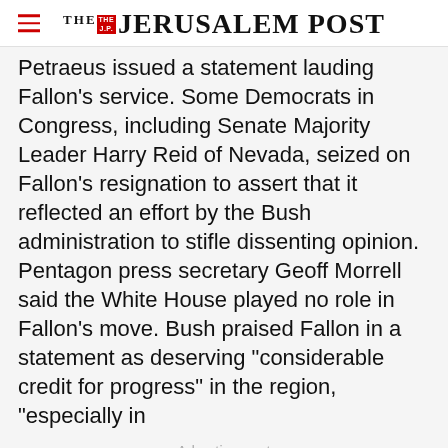THE JERUSALEM POST
Petraeus issued a statement lauding Fallon's service. Some Democrats in Congress, including Senate Majority Leader Harry Reid of Nevada, seized on Fallon's resignation to assert that it reflected an effort by the Bush administration to stifle dissenting opinion. Pentagon press secretary Geoff Morrell said the White House played no role in Fallon's move. Bush praised Fallon in a statement as deserving "considerable credit for progress" in the region, "especially in
Advertisement